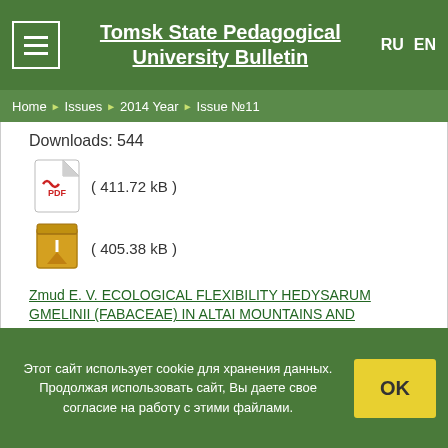Tomsk State Pedagogical University Bulletin
Home › Issues › 2014 Year › Issue №11
Downloads: 544
[Figure (other): PDF file icon ( 411.72 kB )]
[Figure (other): ZIP file icon ( 405.38 kB )]
Zmud E. V. ECOLOGICAL FLEXIBILITY HEDYSARUM GMELINII (FABACEAE) IN ALTAI MOUNTAINS AND CHAKASSIA // Tomsk State Pedagogical University Bulletin. 2014. Issue 11 (152). P. 220-226
Downloads: 731
[Figure (other): PDF file icon ( 638.54 kB )]
Этот сайт использует cookie для хранения данных. Продолжая использовать сайт, Вы даете свое согласие на работу с этими файлами.